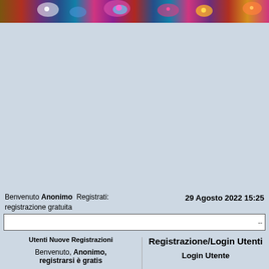[Figure (photo): Space/nebula banner image with colorful stars and cosmic clouds in red, blue, pink, and gold tones]
Benvenuto Anonimo  Registrati: registrazione gratuita
29 Agosto 2022 15:25
Utenti Nuove Registrazioni
Registrazione/Login Utenti
Benvenuto, Anonimo, registrarsi è gratis
Login Utente